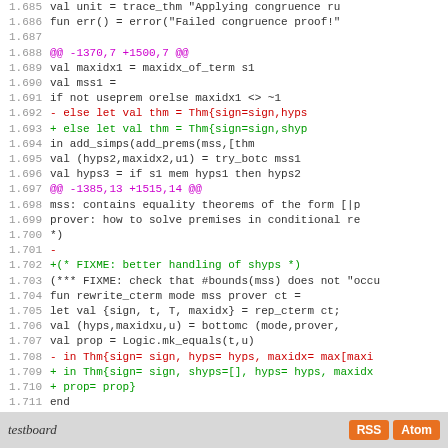[Figure (screenshot): Source code diff view showing lines 1.685–1.713 with line numbers, removed lines in red, added lines in green, and diff hunk headers in magenta]
testboard   RSS  Atom